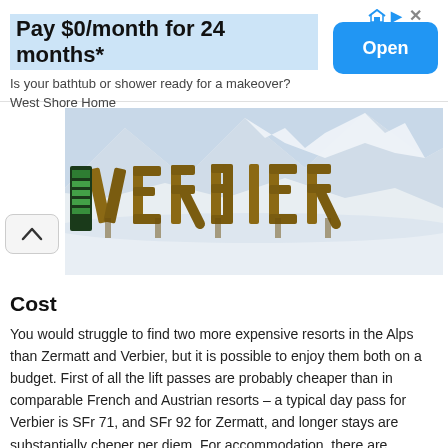Pay $0/month for 24 months* | Is your bathtub or shower ready for a makeover? West Shore Home | Open
[Figure (photo): Large wooden VERBIER letters sign in a snowy mountain landscape with snow-covered peaks in the background]
Cost
You would struggle to find two more expensive resorts in the Alps than Zermatt and Verbier, but it is possible to enjoy them both on a budget. First of all the lift passes are probably cheaper than in comparable French and Austrian resorts – a typical day pass for Verbier is SFr 71, and SFr 92 for Zermatt, and longer stays are substantially cheper per diem. For accommodation, there are affordable hostels and basic accommodation in Zermatt